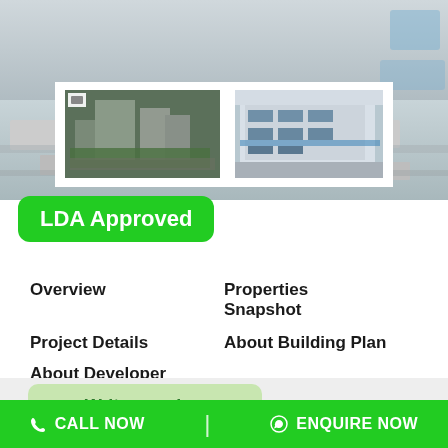[Figure (photo): Hero background showing rooftop aerial view of buildings and HVAC equipment, with two property thumbnail photos displayed in a white card overlay — left photo shows an aerial view of a multi-storey building under construction surrounded by trees; right photo shows a modern white commercial building exterior.]
LDA Approved
Overview
Properties Snapshot
Project Details
About Building Plan
About Developer
Write a review
CALL NOW   |   ENQUIRE NOW